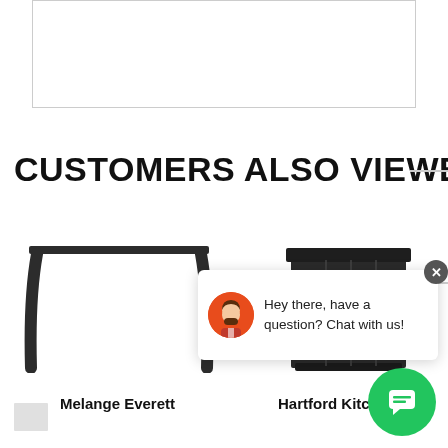[Figure (other): Blank white bordered image placeholder at top of page]
CUSTOMERS ALSO VIEWED
[Figure (photo): Melange Everett furniture product photo - dark console table with curved legs]
[Figure (photo): Hartford Kitchen furniture product photo - dark cabinet/hutch piece]
Melange Everett
Hartford Kitchen
[Figure (other): Live chat popup widget with avatar and message: Hey there, have a question? Chat with us!]
[Figure (other): Green chat button circle with chat icon in bottom right corner]